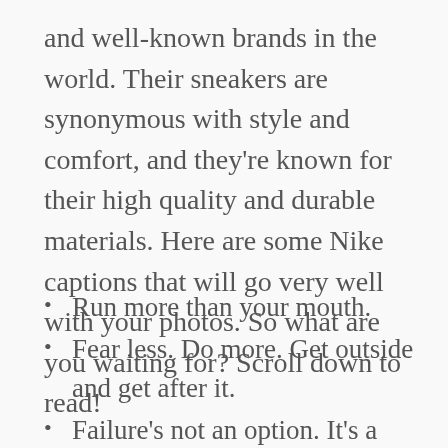and well-known brands in the world. Their sneakers are synonymous with style and comfort, and they're known for their high quality and durable materials. Here are some Nike captions that will go very well with your photos. So what are you waiting for? Scroll down to read!
Run more than your mouth.
Fear less. Do more. Get outside and get after it.
Failure's not an option. It's a step.